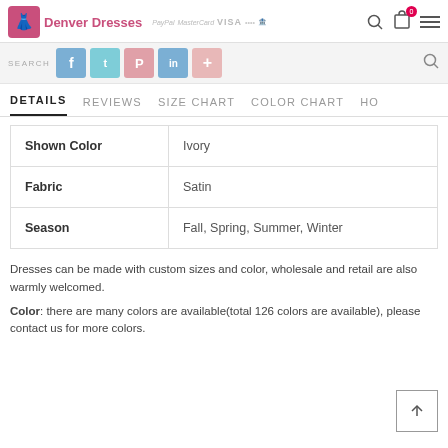Denver Dresses
DETAILS  REVIEWS  SIZE CHART  COLOR CHART  HO
| Shown Color | Ivory |
| Fabric | Satin |
| Season | Fall, Spring, Summer, Winter |
Dresses can be made with custom sizes and color, wholesale and retail are also warmly welcomed.
Color: there are many colors are available(total 126 colors are available), please contact us for more colors.